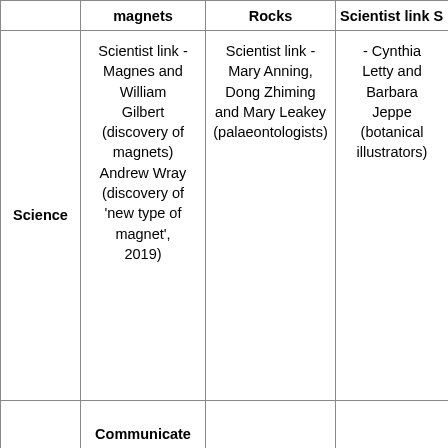|  | magnets | Rocks | Scientist link S... |
| --- | --- | --- | --- |
| Science | Scientist link - Magnes and William Gilbert (discovery of magnets) Andrew Wray (discovery of 'new type of magnet', 2019) | Scientist link - Mary Anning, Dong Zhiming and Mary Leakey (palaeontologists) | Scientist link S - Cynthia Letty and Barbara Jeppe (botanical illustrators) |
|  | Communicate |  |  |